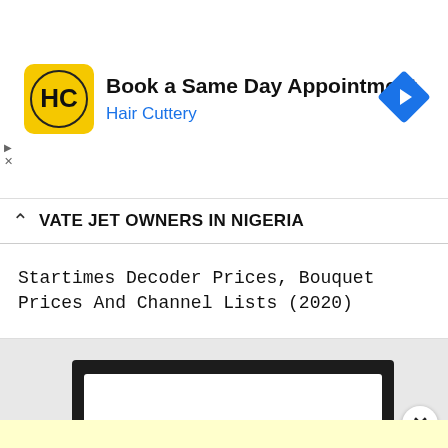[Figure (screenshot): Hair Cuttery advertisement banner with logo, text 'Book a Same Day Appointment', 'Hair Cuttery', and a blue navigation arrow icon]
VATE JET OWNERS IN NIGERIA
Startimes Decoder Prices, Bouquet Prices And Channel Lists (2020)
[Figure (screenshot): Search modal with white input box and blue Search button on dark background]
×